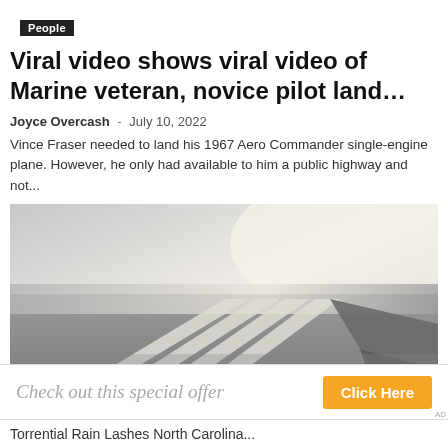People
Viral video shows viral video of Marine veteran, novice pilot land…
Joyce Overcash  -  July 10, 2022
Vince Fraser needed to land his 1967 Aero Commander single-engine plane. However, he only had available to him a public highway and not...
[Figure (photo): Aerial or close-up grayscale photo of runway/pavement markings with parallel white lines on a concrete or asphalt surface, with a portion of an aircraft wing or similar structure visible on the right side.]
Check out this special offer   Click Here
Torrential Rain Lashes North Carolina...